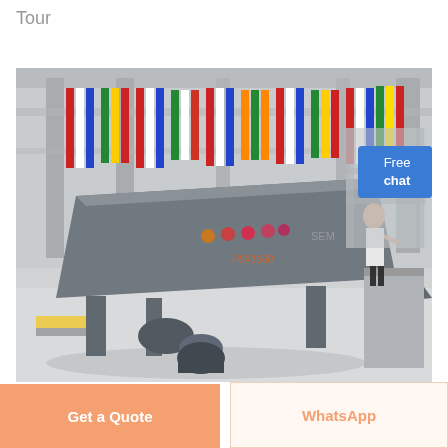Tour
[Figure (photo): Industrial vibrating screen/sieve machine on display inside a large exhibition hall decorated with international flags. The machine is large, grey, and elevated on a frame with a motor and belt drive visible below. A person in a white coat stands to the right side.]
Free chat
Get a Quote
WhatsApp